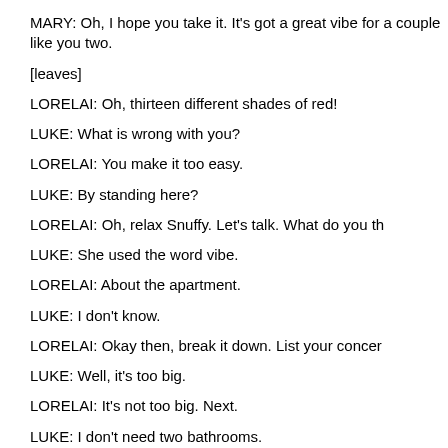MARY: Oh, I hope you take it. It's got a great vibe for a couple like you two.
[leaves]
LORELAI: Oh, thirteen different shades of red!
LUKE: What is wrong with you?
LORELAI: You make it too easy.
LUKE: By standing here?
LORELAI: Oh, relax Snuffy. Let's talk. What do you th…
LUKE: She used the word vibe.
LORELAI: About the apartment.
LUKE: I don't know.
LORELAI: Okay then, break it down. List your concer…
LUKE: Well, it's too big.
LORELAI: It's not too big. Next.
LUKE: I don't need two bathrooms.
LORELAI: Yes, you do. Next.